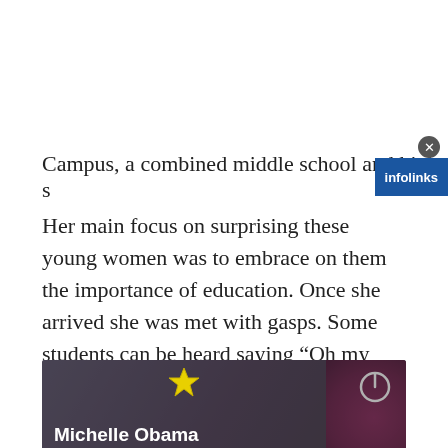Campus, a combined middle school and high s
Her main focus on surprising these young women was to embrace on them the importance of education. Once she arrived she was met with gasps. Some students can be heard saying “Oh my God!” while another one asks classmates if they knew she was coming.
[Figure (screenshot): Video thumbnail showing Michelle Obama with a yellow star graphic. Lower-third overlay reads 'Michelle Obama' in bold white text and '1h ago' beneath. Power button icon in upper right. Blurred pink floral background. Infolinks ad banner overlaid at bottom-left.]